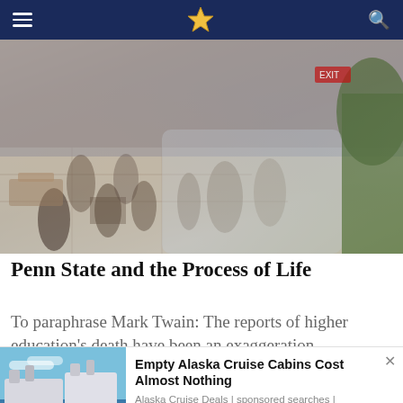Navigation bar with hamburger menu, site logo, and search icon
[Figure (photo): Overhead view of a busy indoor public space (mall or university atrium) with many people walking, blurred motion, tiled floor, plant visible at right edge]
Penn State and the Process of Life
To paraphrase Mark Twain: The reports of higher education's death have been an exaggeration.
[Figure (photo): Advertisement showing large cruise ships against a blue sky with water]
Empty Alaska Cruise Cabins Cost Almost Nothing
Alaska Cruise Deals | sponsored searches | Sponsored
Social share bar: Facebook, Twitter, Email, SMS